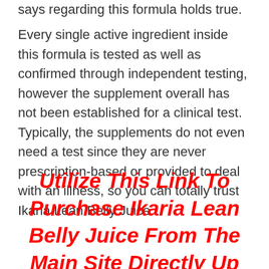says regarding this formula holds true.
Every single active ingredient inside this formula is tested as well as confirmed through independent testing, however the supplement overall has not been established for a clinical test. Typically, the supplements do not even need a test since they are never prescription-based or provided to deal with an illness, so you can totally trust Ikaria Lean Belly Juice.
Utilize This Link To Purchase Ikaria Lean Belly Juice From The Main Site Directly Up To 50% Off ➤